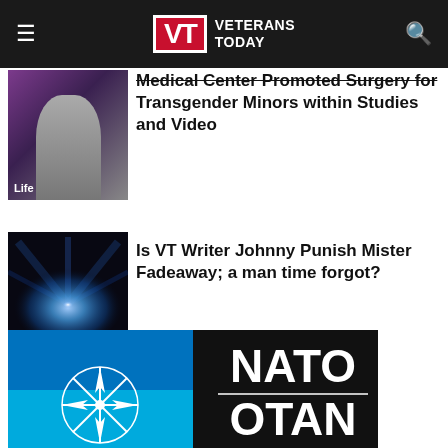Veterans Today
Medical Center Promoted Surgery for Transgender Minors within Studies and Video
[Figure (photo): Thumbnail of a person, category label: Life]
Is VT Writer Johnny Punish Mister Fadeaway; a man time forgot?
[Figure (photo): Thumbnail with light burst effect, category label: Health & Wellness]
[Figure (logo): NATO / OTAN logo with compass rose on blue and black background]